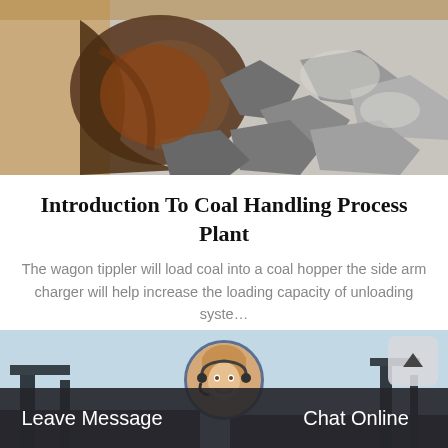[Figure (photo): Industrial coal loading scene showing a excavator bucket/shovel loading pieces of coal, with grey and dark coal chunks visible in a container or hopper]
Introduction To Coal Handling Process Plant
The wagon tippler will load coal into a coal hopper the side arm charger will help increase the loading capacity of unloading syste…
See Details >
[Figure (photo): Bottom section showing industrial machinery with a female customer service representative avatar in a circular frame, a scroll-to-top button, and a dark bar with Leave Message and Chat Online buttons]